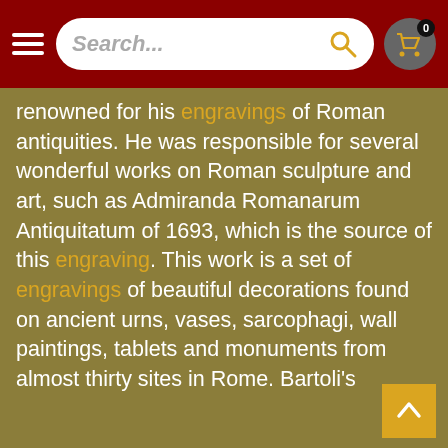Search...
renowned for his engravings of Roman antiquities. He was responsible for several wonderful works on Roman sculpture and art, such as Admiranda Romanarum Antiquitatum of 1693, which is the source of this engraving. This work is a set of engravings of beautiful decorations found on ancient urns, vases, sarcophagi, wall paintings, tablets and monuments from almost thirty sites in Rome. Bartoli's engravings, and his notes engraved under many of them, were an important reference for Renaissance and later artists.
The beauty and elegance of these rare engravings is quite exceptional. They have